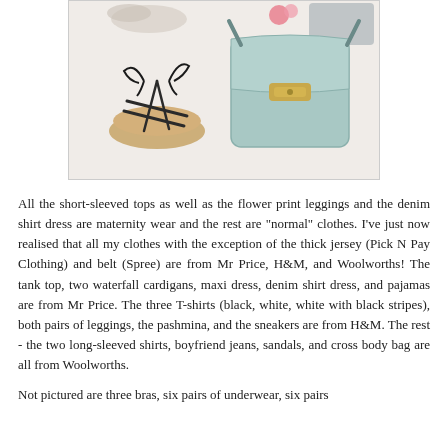[Figure (photo): Flat lay photo showing sandals/strappy shoes and a light blue/mint cross body bag on a light background, with other accessories visible at top.]
All the short-sleeved tops as well as the flower print leggings and the denim shirt dress are maternity wear and the rest are "normal" clothes. I've just now realised that all my clothes with the exception of the thick jersey (Pick N Pay Clothing) and belt (Spree) are from Mr Price, H&M, and Woolworths! The tank top, two waterfall cardigans, maxi dress, denim shirt dress, and pajamas are from Mr Price. The three T-shirts (black, white, white with black stripes), both pairs of leggings, the pashmina, and the sneakers are from H&M. The rest - the two long-sleeved shirts, boyfriend jeans, sandals, and cross body bag are all from Woolworths.
Not pictured are three bras, six pairs of underwear, six pairs